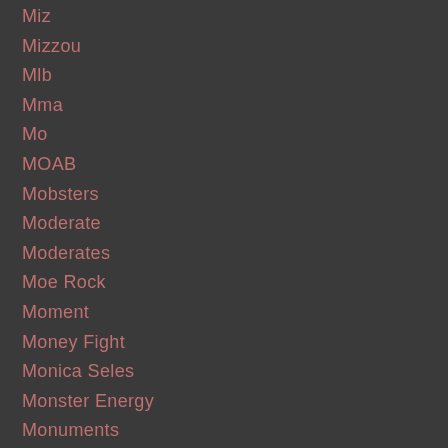Miz
Mizzou
Mlb
Mma
Mo
MOAB
Mobsters
Moderate
Moderates
Moe Rock
Moment
Money Fight
Monica Seles
Monster Energy
Monuments
Moody
Moore
Morae
Moral
Moral Dilemma
Morale